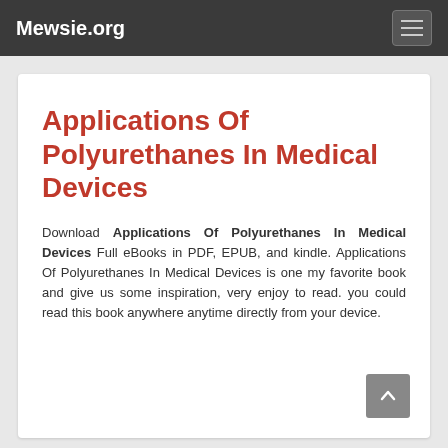Mewsie.org
Applications Of Polyurethanes In Medical Devices
Download Applications Of Polyurethanes In Medical Devices Full eBooks in PDF, EPUB, and kindle. Applications Of Polyurethanes In Medical Devices is one my favorite book and give us some inspiration, very enjoy to read. you could read this book anywhere anytime directly from your device.